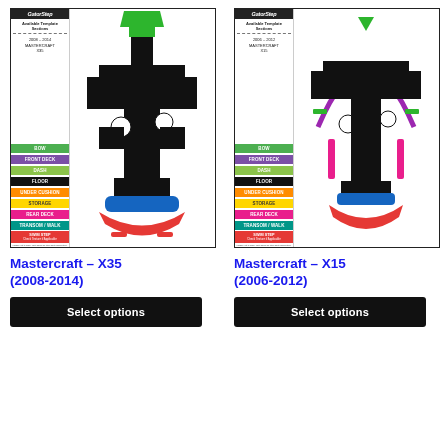[Figure (illustration): GatorStep boat template diagram for Mastercraft X35 2008-2014 showing available template sections with colored sidebar labels: BOW (green), FRONT DECK (purple), DASH (lime), FLOOR (black), UNDER CUSHION (orange), STORAGE (yellow), REAR DECK (pink), TRANSOM/WALK (teal), SWIM STEP (red). Boat top-down view in black silhouette with blue and red colored sections at rear.]
[Figure (illustration): GatorStep boat template diagram for Mastercraft X15 2006-2012 showing available template sections with colored sidebar labels: BOW (green), FRONT DECK (purple), DASH (lime), FLOOR (black), UNDER CUSHION (orange), STORAGE (yellow), REAR DECK (pink), TRANSOM/WALK (teal), SWIM STEP (red). Boat top-down view in black silhouette with purple bow arc, green dash marks, pink side bars, blue and red rear sections.]
Mastercraft – X35 (2008-2014)
Mastercraft – X15 (2006-2012)
Select options
Select options